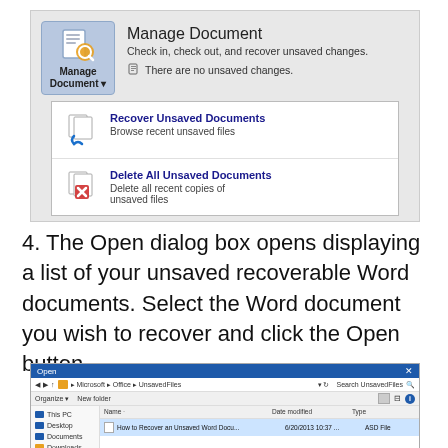[Figure (screenshot): Microsoft Word Manage Document dropdown panel showing 'Recover Unsaved Documents' and 'Delete All Unsaved Documents' options]
4. The Open dialog box opens displaying a list of your unsaved recoverable Word documents. Select the Word document you wish to recover and click the Open button.
[Figure (screenshot): Windows Open dialog box showing UnsavedFiles folder with a file named 'How to Recover an Unsaved Word Docu...' with date 6/20/2013 10:37 and type ASD File]